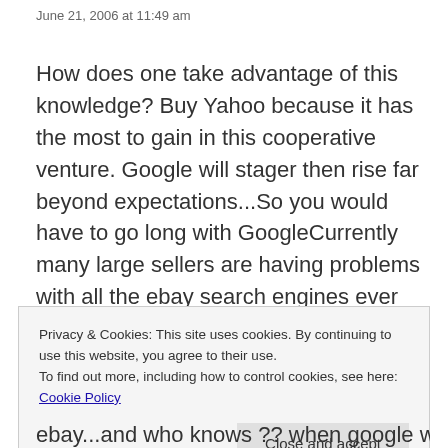June 21, 2006 at 11:49 am
How does one take advantage of this knowledge? Buy Yahoo because it has the most to gain in this cooperative venture. Google will stager then rise far beyond expectations...So you would have to go long with GoogleCurrently many large sellers are having problems with all the ebay search engines ever since they launched express stores which is formated to fit the yahoo search engines...It has infected the whole site because the google search
Privacy & Cookies: This site uses cookies. By continuing to use this website, you agree to their use.
To find out more, including how to control cookies, see here: Cookie Policy
ebay...and who knows ?? when google will perfect